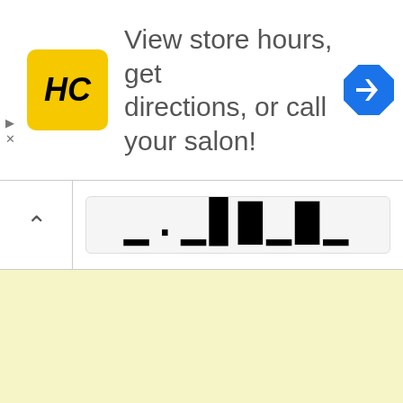[Figure (screenshot): Advertisement banner with HC (Hair Club) yellow logo, text 'View store hours, get directions, or call your salon!', and a blue navigation diamond icon. Play and X control icons visible on left edge.]
[Figure (screenshot): Browser URL bar showing a barcode-like rendered URL text, with a chevron (up arrow) button on the left side.]
[Figure (other): Light yellow empty content area filling the bottom portion of the page.]